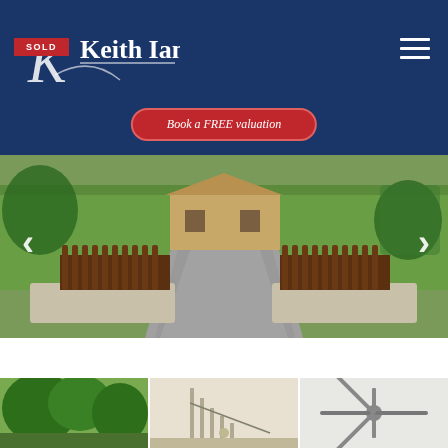[Figure (logo): Keith Ian estate agents logo with SOLD badge overlay and KI monogram]
Book a FREE valuation
[Figure (photo): Driveway entrance with dark wooden picket fence on both sides, gravel borders, green lawn, and house visible in background]
[Figure (photo): Three thumbnail property photos at bottom of page]